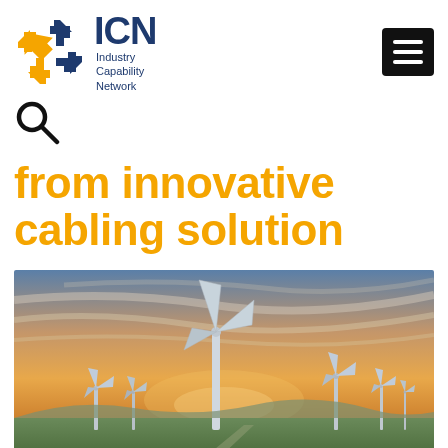[Figure (logo): ICN Industry Capability Network logo with orange and blue arrow icon]
[Figure (other): Hamburger menu icon - three white horizontal lines on black rounded rectangle background]
[Figure (other): Search magnifying glass icon]
from innovative cabling solution
[Figure (photo): Wind farm at sunset with multiple wind turbines against a colorful sky with orange and blue clouds over green fields]